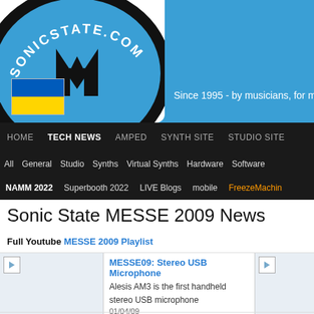[Figure (logo): SonicState.com logo with circular design, M mark, Ukraine flag, and blue banner. Tagline: Since 1995 - by musicians, for m...]
HOME | TECH NEWS | AMPED | SYNTH SITE | STUDIO SITE
All  General  Studio  Synths  Virtual Synths  Hardware  Software
NAMM 2022  Superbooth 2022  LIVE Blogs  mobile  FreezeMachin...
Sonic State MESSE 2009 News
Full Youtube MESSE 2009 Playlist
MESSE09: Stereo USB Microphone
Alesis AM3 is the first handheld stereo USB microphone
01/04/09
MESSE09: New SSL Compact